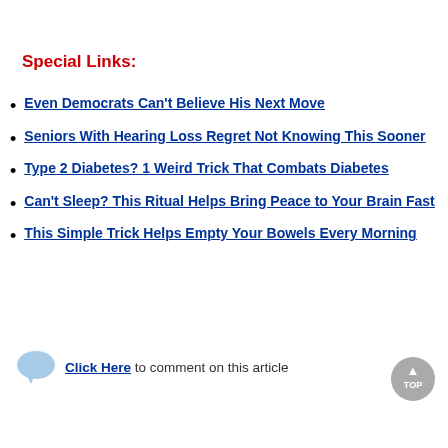Special Links:
Even Democrats Can't Believe His Next Move
Seniors With Hearing Loss Regret Not Knowing This Sooner
Type 2 Diabetes? 1 Weird Trick That Combats Diabetes
Can't Sleep? This Ritual Helps Bring Peace to Your Brain Fast
This Simple Trick Helps Empty Your Bowels Every Morning
Click Here to comment on this article